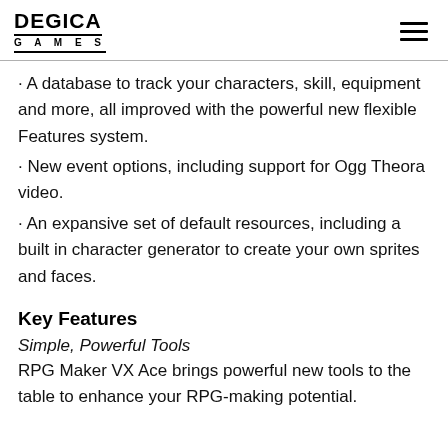DEGICA GAMES
· A database to track your characters, skill, equipment and more, all improved with the powerful new flexible Features system.
· New event options, including support for Ogg Theora video.
· An expansive set of default resources, including a built in character generator to create your own sprites and faces.
Key Features
Simple, Powerful Tools
RPG Maker VX Ace brings powerful new tools to the table to enhance your RPG-making potential.